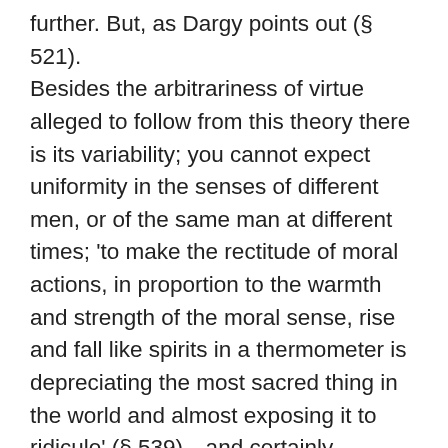further. But, as Dargy points out (§ 521). Besides the arbitrariness of virtue alleged to follow from this theory there is its variability; you cannot expect uniformity in the senses of different men, or of the same man at different times; 'to make the rectitude of moral actions, in proportion to the warmth and strength of the moral sense, rise and fall like spirits in a thermometer is depreciating the most sacred thing in the world and almost exposing it to ridicule' (§ 539)—and certainly rendering morality 'incapable of demonstration' (§ 728), besides ascribing to it a low origin and impairing its dignity (§ 540). If Hutcheson urges that as a matter of fact 'it is highly probable that the senses of all men are